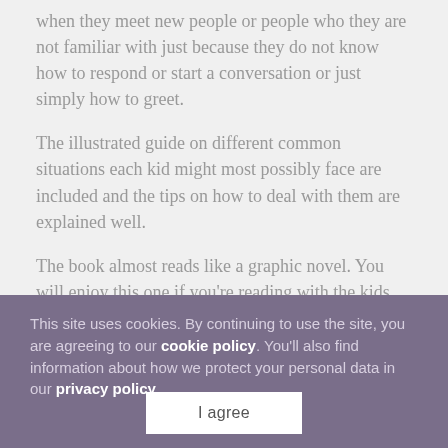when they meet new people or people who they are not familiar with just because they do not know how to respond or start a conversation or just simply how to greet.
The illustrated guide on different common situations each kid might most possibly face are included and the tips on how to deal with them are explained well.
The book almost reads like a graphic novel. You will enjoy this one if you're reading with the kids.
One of the best young readers guidebooks I say!
This site uses cookies. By continuing to use the site, you are agreeing to our cookie policy. You'll also find information about how we protect your personal data in our privacy policy.